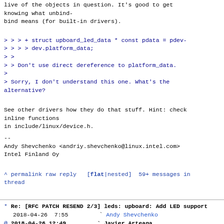live of the objects in question. It's good to get knowing what unbind-bind means (for built-in drivers).
> > > + struct upboard_led_data * const pdata = pdev-
> > > > dev.platform_data;
> >
> > Don't use direct dereference to platform_data.
>
> Sorry, I don't understand this one. What's the alternative?
See other drivers how they do that stuff. Hint: check inline functions
in include/linux/device.h.
--
Andy Shevchenko <andriy.shevchenko@linux.intel.com>
Intel Finland Oy
^ permalink raw reply   [flat|nested] 59+ messages in thread
* Re: [RFC PATCH RESEND 2/3] leds: upboard: Add LED support
  2018-04-26  7:55         ` Andy Shevchenko
@ 2018-04-26 12:49         ` Javier Arteaga
  2018-05-02 13:55           ` Andy Shevchenko
  0 siblings, 1 reply; 59+ messages in thread
From: Javier Arteaga @ 2018-04-26 12:49 UTC (permalink